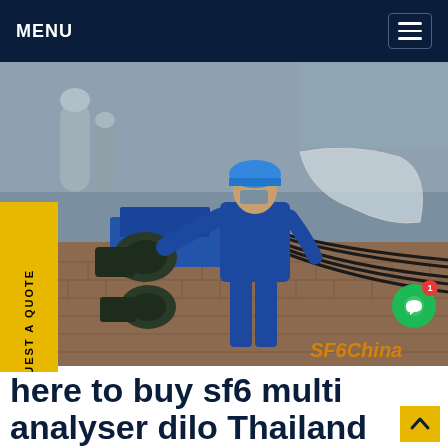MENU
[Figure (photo): A worker in blue coveralls and blue hard hat operating industrial SF6 gas handling equipment on a rooftop or industrial site. Blue machinery and cables are visible. Watermark: SF6China.]
REQUEST A QUOTE
here to buy sf6 multi analyser dilo Thailand
where to buy sf6 multi analyser dilo